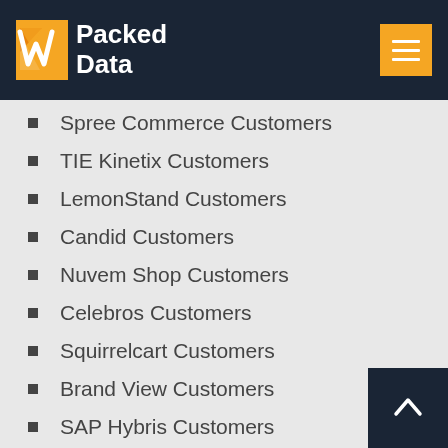Packed Data
Spree Commerce Customers
TIE Kinetix Customers
LemonStand Customers
Candid Customers
Nuvem Shop Customers
Celebros Customers
Squirrelcart Customers
Brand View Customers
SAP Hybris Customers
Amplience Customers
Borderfree Customers